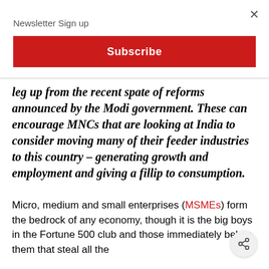Newsletter Sign up
Subscribe
leg up from the recent spate of reforms announced by the Modi government. These can encourage MNCs that are looking at India to consider moving many of their feeder industries to this country – generating growth and employment and giving a fillip to consumption.
Micro, medium and small enterprises (MSMEs) form the bedrock of any economy, though it is the big boys in the Fortune 500 club and those immediately below them that steal all the